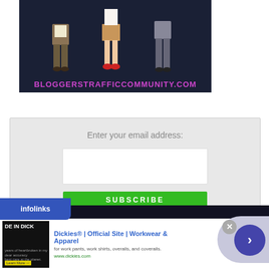[Figure (illustration): Banner image with dark navy background showing anime-style characters (legs/lower body visible) and pink text 'BLOGGERSTRAFFICCOMMUNITY.COM']
Enter your email address:
[Figure (screenshot): Email subscription form with input field and green SUBSCRIBE button]
[Figure (advertisement): Infolinks ad banner: 'Dickies® | Official Site | Workwear & Apparel - for work pants, work shirts, overalls, and coveralls. www.dickies.com' with thumbnail image and navigation arrow button]